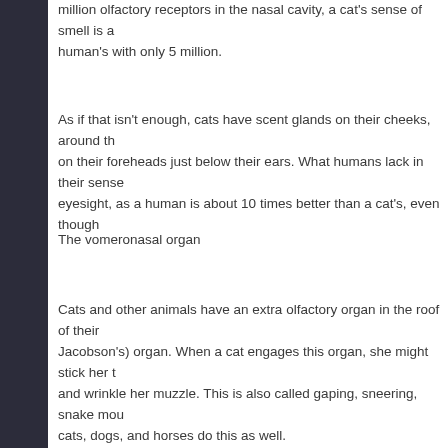million olfactory receptors in the nasal cavity, a cat's sense of smell is a human's with only 5 million.
As if that isn't enough, cats have scent glands on their cheeks, around their foreheads just below their ears. What humans lack in their sense of eyesight, as a human is about 10 times better than a cat's, even though
The vomeronasal organ
Cats and other animals have an extra olfactory organ in the roof of their Jacobson's) organ. When a cat engages this organ, she might stick her and wrinkle her muzzle. This is also called gaping, sneering, snake mouth. cats, dogs, and horses do this as well.
The vomeronasal organ is an extrasensory olfactory organ that allows cats. You might think of it as what a magnifying glass is for our eyesight, the v sense of smell. Cats will use it if they smell something they have never s accurately identify it.
A form of identification
Cats identify things through their sense of smell. Cats recognize people according to a study published in the journal Animal Cognition. Cats gree